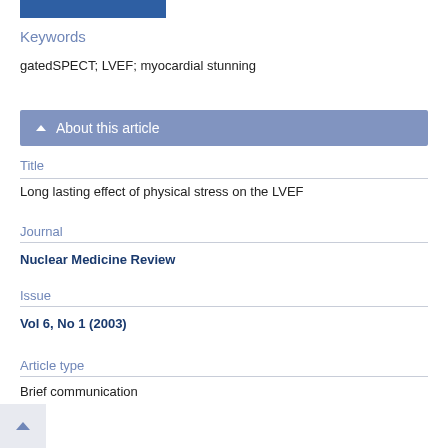[Figure (other): Blue navigation bar at top]
Keywords
gatedSPECT; LVEF; myocardial stunning
About this article
Title
Long lasting effect of physical stress on the LVEF
Journal
Nuclear Medicine Review
Issue
Vol 6, No 1 (2003)
Article type
Brief communication